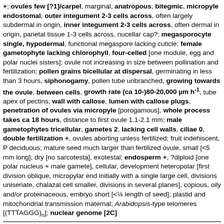+; ovules few [?1]/carpel, marginal, anatropous, bitegmic, micropyle endostomal, outer integument 2-3 cells across, often largely subdermal in origin, inner integument 2-3 cells across, often dermal in origin, parietal tissue 1-3 cells across, nucellar cap?; megasporocyte single, hypodermal, functional megaspore lacking cuticle; female gametophyte lacking chlorophyll, four-celled [one module, egg and polar nuclei sisters]; ovule not increasing in size between pollination and fertilization; pollen grains bicellular at dispersal, germinating in less than 3 hours, siphonogamy, pollen tube unbranched, growing towards the ovule, between cells, growth rate (ca 10-)80-20,000 µm h-1, tube apex of pectins, wall with callose, lumen with callose plugs, penetration of ovules via micropyle [porogamous], whole process takes ca 18 hours, distance to first ovule 1.1-2.1 mm; male gametophytes tricellular, gametes 2, lacking cell walls, ciliae 0, double fertilization +, ovules aborting unless fertilized; fruit indehiscent, P deciduous; mature seed much larger than fertilized ovule, small [<5 mm long], dry [no sarcotesta], exotestal; endosperm +, ?diploid [one polar nucleus + male gamete], cellular, development heteropolar [first division oblique, micropylar end initially with a single large cell, divisions uniseriate, chalazal cell smaller, divisions in several planes], copious, oily and/or proteinaceous, embryo short [<¼ length of seed]; plastid and mitochondrial transmission maternal; Arabidopsis-type telomeres [(TTTAGGG)n]; nuclear genome [2C]
(0.57-)1.45(-3.71) [1 pg = 10^9 base pairs], ??whole nuclear genome duplication [ε/epsilon event]; ndhB gene 21 codons enlarged at the 5' end, single copy of LEAFY and RPB2 gene, knox genes extensively duplicated [A1-A4], AP1/FUL gene, palaeo AP3 and PI genes [paralogous B-class genes] +, with "DEAER" motif, SEP3/LOFSEP and three copies of the PHY gene, [PHYB [PHYA + PHYC]]; chloroplast IR expansions, chlB, -L, -N, trnP-GGG genes 0.